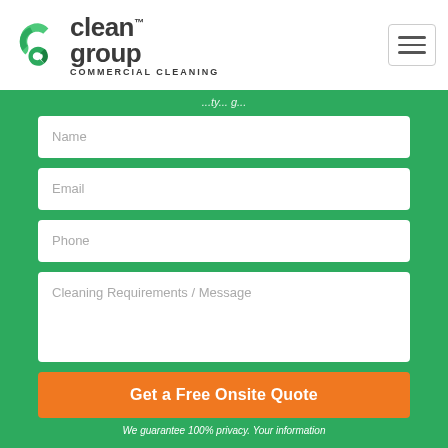[Figure (logo): Clean Group Commercial Cleaning logo with green/teal C icon and company name]
Name
Email
Phone
Cleaning Requirements / Message
Get a Free Onsite Quote
We guarantee 100% privacy. Your information